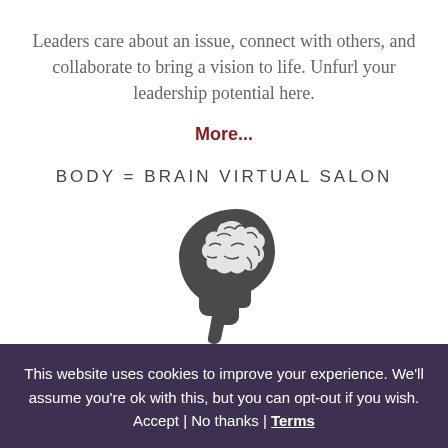Leaders care about an issue, connect with others, and collaborate to bring a vision to life. Unfurl your leadership potential here.
More...
BODY = BRAIN VIRTUAL SALON
[Figure (illustration): Dark gray silhouette icon of a human head in profile with a brain visible inside, facing left]
Become a more confident + creative coach, therapist, yogi, or bodyworker. Join the premier program on the
This website uses cookies to improve your experience. We'll assume you're ok with this, but you can opt-out if you wish. Accept | No thanks | Terms